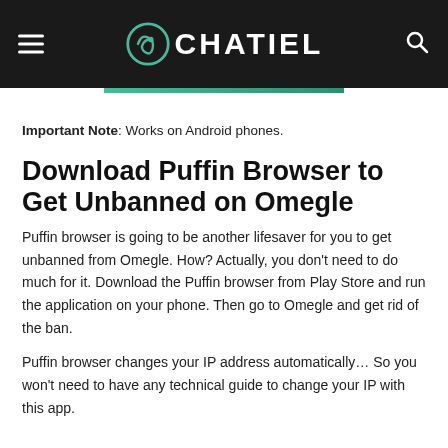CHATIEL
Important Note: Works on Android phones.
Download Puffin Browser to Get Unbanned on Omegle
Puffin browser is going to be another lifesaver for you to get unbanned from Omegle. How? Actually, you don't need to do much for it. Download the Puffin browser from Play Store and run the application on your phone. Then go to Omegle and get rid of the ban.
Puffin browser changes your IP address automatically… So you won't need to have any technical guide to change your IP with this app.